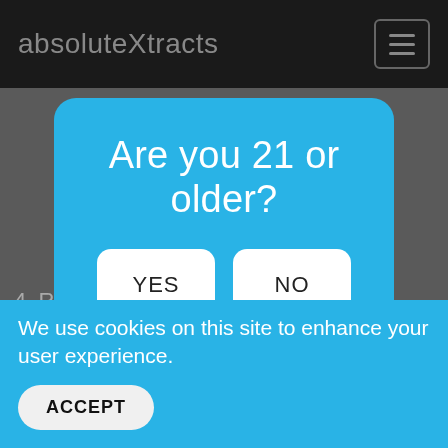absoluteXtracts
4. R... sau...
Are you 21 or older?
YES
NO
You must verify that you are 21 years of age or older to enter this site.
We use cookies on this site to enhance your user experience.
ACCEPT